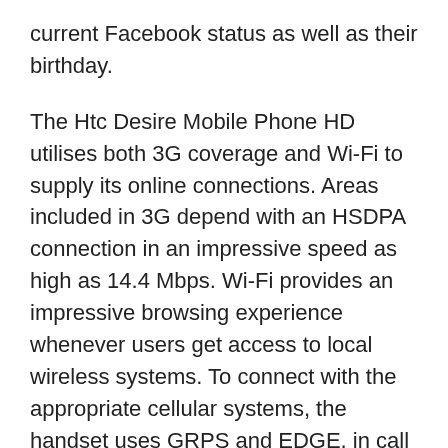current Facebook status as well as their birthday.
The Htc Desire Mobile Phone HD utilises both 3G coverage and Wi-Fi to supply its online connections. Areas included in 3G depend with an HSDPA connection in an impressive speed as high as 14.4 Mbps. Wi-Fi provides an impressive browsing experience whenever users get access to local wireless systems. To connect with the appropriate cellular systems, the handset uses GRPS and EDGE, in call 32 versions. Gps navigation having a-Gps navigation support is supplied, which enables features like the digital compass feature and Google Maps to operate. HTC also have incorporated the “Locations” feature. This downloads entire maps, so users can browse them no matter signal strength.
The effective 8 megapixel camera provides users with a